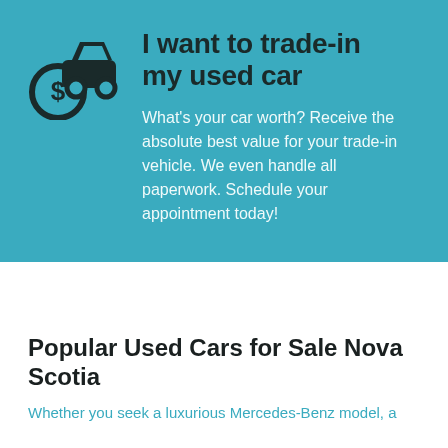[Figure (illustration): Car with a dollar sign coin icon — trade-in car graphic in dark color on teal background]
I want to trade-in my used car
What's your car worth? Receive the absolute best value for your trade-in vehicle. We even handle all paperwork. Schedule your appointment today!
Popular Used Cars for Sale Nova Scotia
Whether you seek a luxurious Mercedes-Benz model, a